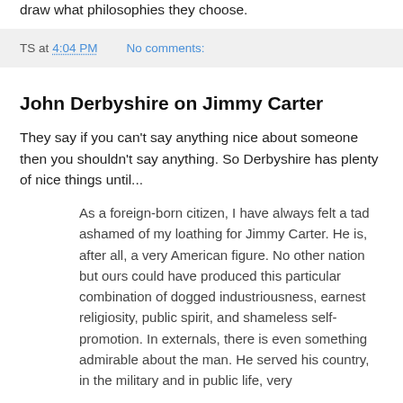draw what philosophies they choose.
TS at 4:04 PM    No comments:
John Derbyshire on Jimmy Carter
They say if you can't say anything nice about someone then you shouldn't say anything. So Derbyshire has plenty of nice things until...
As a foreign-born citizen, I have always felt a tad ashamed of my loathing for Jimmy Carter. He is, after all, a very American figure. No other nation but ours could have produced this particular combination of dogged industriousness, earnest religiosity, public spirit, and shameless self-promotion. In externals, there is even something admirable about the man. He served his country, in the military and in public life, very